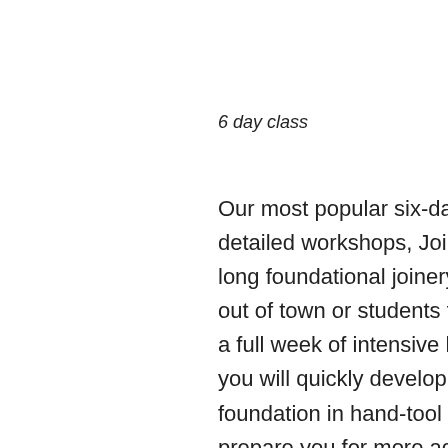6 day class
Our most popular six-day workshop combines the previously detailed workshops, Joinery I, II and III, into an intensive week-long foundational joinery course for those that are traveling from out of town or students from close by who would prefer to attend a full week of intensive hand-tool woodworking. In this course you will quickly develop the skills necessary to establish a solid foundation in hand-tool woodworking. These skills will also prepare you for more advanced projects.